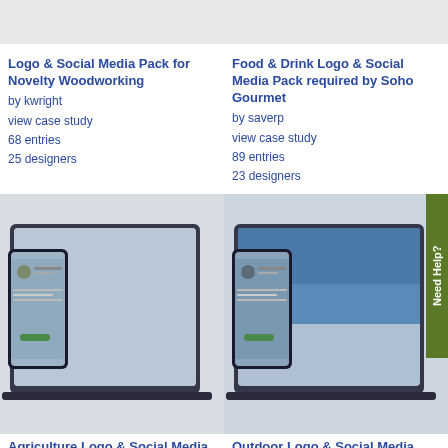[Figure (screenshot): Top left card image - gray placeholder screenshot area]
Logo & Social Media Pack for Novelty Woodworking
by kwright
view case study
68 entries
25 designers
[Figure (screenshot): Top right card image - gray placeholder screenshot area]
Food & Drink Logo & Social Media Pack required by Soho Gourmet
by saverp
view case study
89 entries
23 designers
[Figure (screenshot): Bottom left card - social media mockup on laptop and phone showing Agriculture social page]
Agriculture Logo & Social Media Pack required
by akey65
[Figure (screenshot): Bottom right card - social media mockup on laptop and phone with outdoor imagery]
Outdoor Logo & Social Media Pack required
by greg_68347